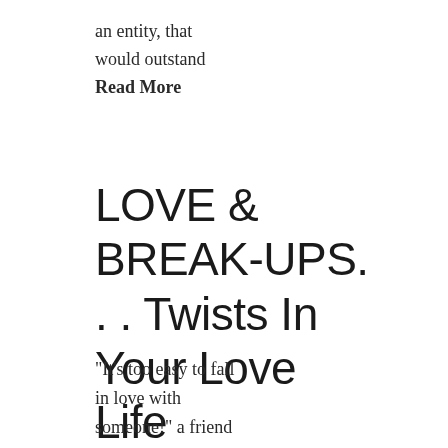an entity, that would outstand
Read More
LOVE & BREAK-UPS.
.. Twists In Your Love Life
"It's too easy to fall in love with someone!" a friend